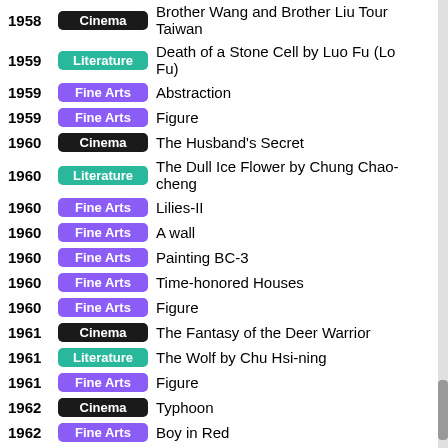1958 Cinema Brother Wang and Brother Liu Tour Taiwan
1959 Literature Death of a Stone Cell by Luo Fu (Lo Fu)
1959 Fine Arts Abstraction
1959 Fine Arts Figure
1960 Cinema The Husband’s Secret
1960 Literature The Dull Ice Flower by Chung Chao-cheng
1960 Fine Arts Lilies-II
1960 Fine Arts A wall
1960 Fine Arts Painting BC-3
1960 Fine Arts Time-honored Houses
1960 Fine Arts Figure
1961 Cinema The Fantasy of the Deer Warrior
1961 Literature The Wolf by Chu Hsi-ning
1961 Fine Arts Figure
1962 Cinema Typhoon
1962 Fine Arts Boy in Red
1962 Fine Arts Atlier
1962 Fine Arts Rocks
1962 Fine Arts “Within, Without” series
1962 Fine Arts (continues)